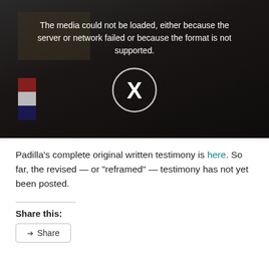[Figure (screenshot): Video player showing media load error. Dark background with a person's silhouette visible. Error message reads: 'The media could not be loaded, either because the server or network failed or because the format is not supported.' A circle with an X icon is displayed in the center.]
Padilla’s complete original written testimony is here. So far, the revised — or “reframed” — testimony has not yet been posted.
Share this:
Share